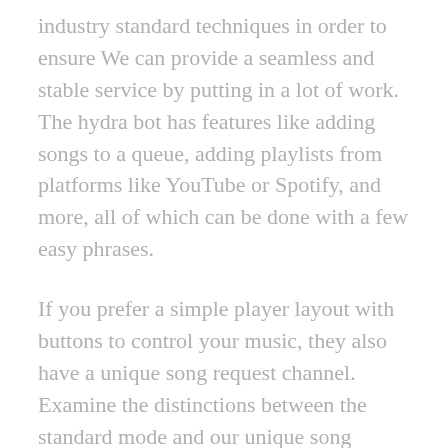industry standard techniques in order to ensure We can provide a seamless and stable service by putting in a lot of work. The hydra bot has features like adding songs to a queue, adding playlists from platforms like YouTube or Spotify, and more, all of which can be done with a few easy phrases.
If you prefer a simple player layout with buttons to control your music, they also have a unique song request channel. Examine the distinctions between the standard mode and our unique song request channel. This necessitated the removal of YouTube as a supported platform on Hydra right away. Hydra Bot Commands can also be used for all of the aforementioned.